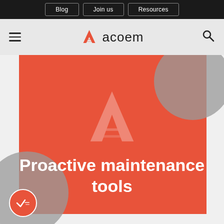Blog | Join us | Resources
[Figure (logo): Acoem logo with red A symbol and 'acoem' text, navigation header with hamburger menu and search icon]
Proactive maintenance tools
[Figure (screenshot): Orange/red hero banner with large acoem watermark logo, two gray decorative circles (top-right and bottom-left), and a chat/check button in bottom-left corner]